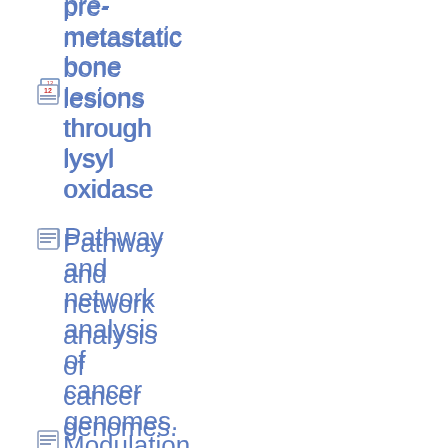pre-metastatic bone lesions through lysyl oxidase
Pathway and network analysis of cancer genomes.
Modulation of the chromatin phosphoproteome